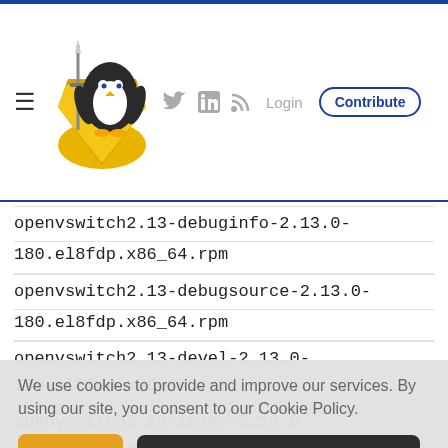Linux Security site header with logo, hamburger menu, social icons, Login, and Contribute button
openvswitch2.13-debuginfo-2.13.0-180.el8fdp.x86_64.rpm
openvswitch2.13-debugsource-2.13.0-180.el8fdp.x86_64.rpm
openvswitch2.13-devel-2.13.0-180.el8fdp.x86_64.rpm
openvswitch2.13-ipsec-2.13.0-180.el8fdp.x86_64.rpm
We use cookies to provide and improve our services. By using our site, you consent to our Cookie Policy.
180.el8fdp.x86_64.rpm
These packages are GPG signed by Red Hat for security. Our key and